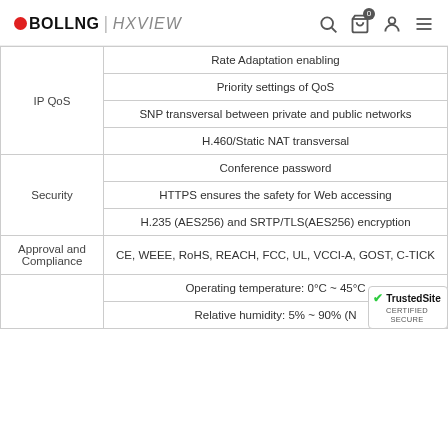OBOLLNG | HXVIEW
| Category | Feature |
| --- | --- |
| IP QoS | Rate Adaptation enabling |
| IP QoS | Priority settings of QoS |
| IP QoS | SNP transversal between private and public networks |
| IP QoS | H.460/Static NAT transversal |
| Security | Conference password |
| Security | HTTPS ensures the safety for Web accessing |
| Security | H.235 (AES256) and SRTP/TLS(AES256) encryption |
| Approval and Compliance | CE, WEEE, RoHS, REACH, FCC, UL, VCCI-A, GOST, C-TICK |
|  | Operating temperature: 0°C ~ 45°C |
|  | Relative humidity: 5% ~ 90% (N...) |